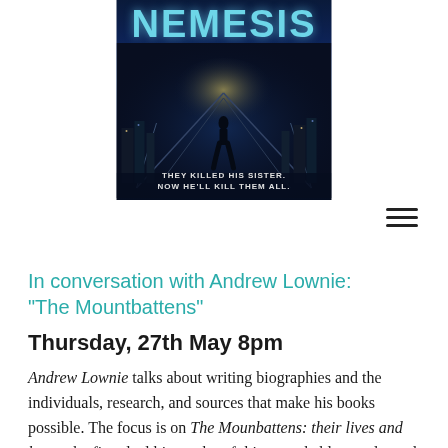[Figure (photo): Book cover of 'NEMESIS' — dark thriller novel cover with a silhouetted figure standing on a bridge at night with city lights. Tagline reads: THEY KILLED HIS SISTER. NOW HE'LL KILL THEM ALL. Title in teal/cyan bold letters at top.]
In conversation with Andrew Lownie: "The Mountbattens"
Thursday, 27th May 8pm
Andrew Lownie talks about writing biographies and the individuals, research, and sources that make his books possible. The focus is on The Mounbattens: their lives and loves, the first dual biography of this remarkable couple, and the most